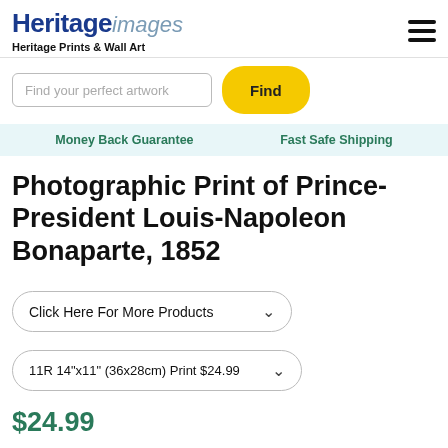Heritage images — Heritage Prints & Wall Art
Find your perfect artwork
Money Back Guarantee   Fast Safe Shipping
Photographic Print of Prince-President Louis-Napoleon Bonaparte, 1852
Click Here For More Products
11R 14"x11" (36x28cm) Print $24.99
$24.99